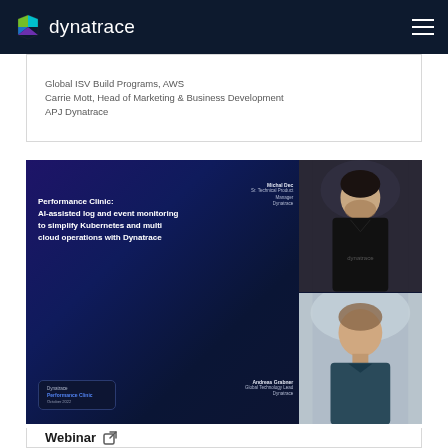dynatrace
Global ISV Build Programs, AWS
Carrie Mott, Head of Marketing & Business Development
APJ Dynatrace
[Figure (photo): Webinar thumbnail: Performance Clinic: AI-assisted log and event monitoring to simplify Kubernetes and multi cloud operations with Dynatrace. Speakers: Michal Dec (Sr. Technical Product Manager, Dynatrace) and Andreas Grabner (Global Technology Lead, Dynatrace). Features photos of both speakers.]
Webinar